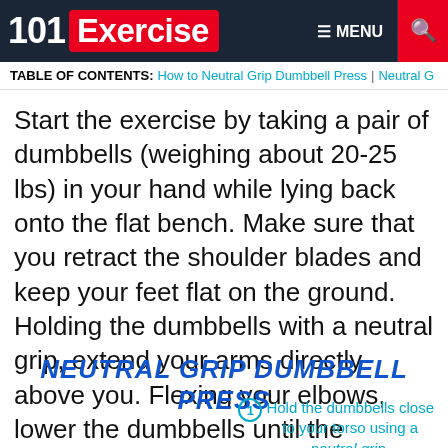101Exercise | MENU | Search
TABLE OF CONTENTS: How to Neutral Grip Dumbbell Press  Neutral G...
Start the exercise by taking a pair of dumbbells (weighing about 20-25 lbs) in your hand while lying back onto the flat bench. Make sure that you retract the shoulder blades and keep your feet flat on the ground. Holding the dumbbells with a neutral grip, extend your arms directly above you. Flexing your elbows, lower the dumbbells until the weights are close to your sides.
NEUTRAL GRIP DUMBBELL PRESS
① Hold the dumbbells close to your torso using a neutral grip.